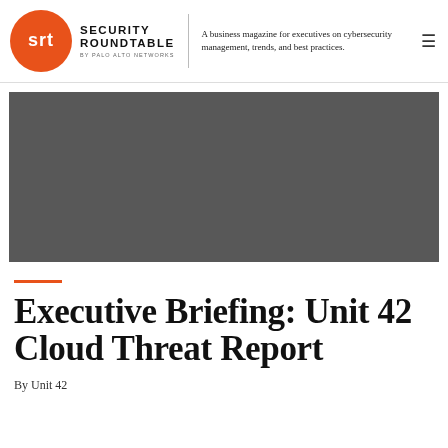Security Roundtable by Palo Alto Networks — A business magazine for executives on cybersecurity management, trends, and best practices.
[Figure (photo): Dark gray hero image placeholder]
Executive Briefing: Unit 42 Cloud Threat Report
By Unit 42